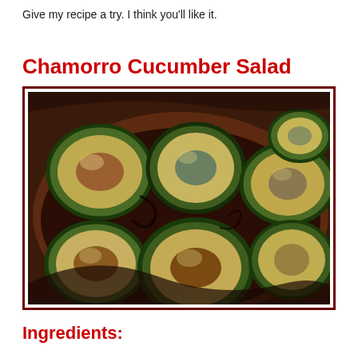Give my recipe a try. I think you'll like it.
Chamorro Cucumber Salad
[Figure (photo): Photo of Chamorro Cucumber Salad: sliced cucumber rounds with dark sauce/marinade in a bowl, close-up view showing glazed cucumber pieces piled together.]
Ingredients: